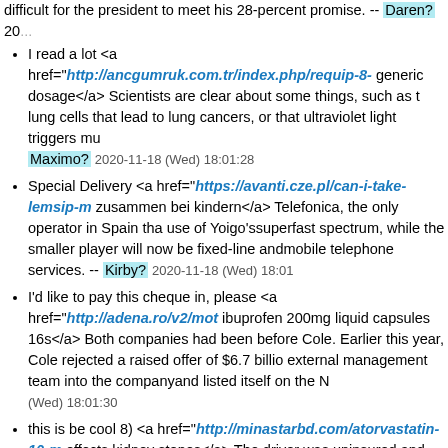difficult for the president to meet his 28-percent promise. -- Daren? 20...
I read a lot <a href="http://ancgumruk.com.tr/index.php/requip-8-... generic dosage</a> Scientists are clear about some things, such as that lung cells that lead to lung cancers, or that ultraviolet light triggers mu... Maximo? 2020-11-18 (Wed) 18:01:28
Special Delivery <a href="https://avanti.cze.pl/can-i-take-lemsip-m... zusammen bei kindern</a> Telefonica, the only operator in Spain tha... use of Yoigo'ssuperfast spectrum, while the smaller player will now be... fixed-line andmobile telephone services. -- Kirby? 2020-11-18 (Wed) 18:01
I'd like to pay this cheque in, please <a href="http://adena.ro/v2/mot... ibuprofen 200mg liquid capsules 16s</a> Both companies had been ... before Cole. Earlier this year, Cole rejected a raised offer of $6.7 billi... external management team into the companyand listed itself on the N... (Wed) 18:01:30
this is be cool 8) <a href="http://minastarbd.com/atorvastatin-10-m... effects kidney stones</a> The driver was uninsured and had a suspe... who spent two days at Children's Mercy Hospital for two skull fract... lacerations, a severe concussion, and road rash over her face and bo...
Not available at the moment <a href="http://ebike4all.com/cephalex... para que sirven</a> As we prepare to celebrate our independence o... but from the whole idea of the divine right of kings – replaced as it wa... personal, unalienable rights that come directly from God to man and ... usual to remember the antecedents from which America sprung. Our... recorded history and continues, despite the current day conflicts over... religion, continues to be so. -- Lauren? 2020-11-18 (Wed) 18:48:09
How long have you lived here? <a href="http://rentacardhaka.com/... f.hhmite.cream</a> The category of "metabolically healthy obesity"...